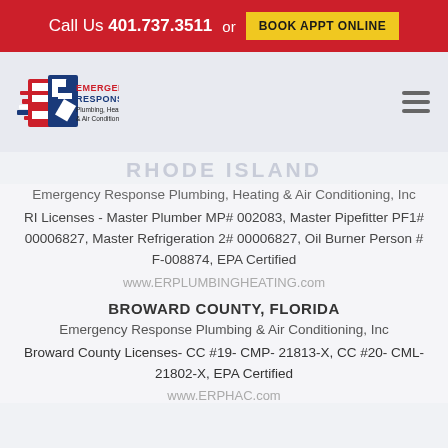Call Us 401.737.3511 or BOOK APPT ONLINE
[Figure (logo): Emergency Response Plumbing, Heating & Air Conditioning logo with ER letters and American flag stripe design]
RHODE ISLAND
Emergency Response Plumbing, Heating & Air Conditioning, Inc
RI Licenses - Master Plumber MP# 002083, Master Pipefitter PF1# 00006827, Master Refrigeration 2# 00006827, Oil Burner Person # F-008874, EPA Certified
www.ERPLUMBINGHEATING.com
BROWARD COUNTY, FLORIDA
Emergency Response Plumbing & Air Conditioning, Inc
Broward County Licenses- CC #19- CMP- 21813-X, CC #20- CML- 21802-X, EPA Certified
www.ERPHAC.com